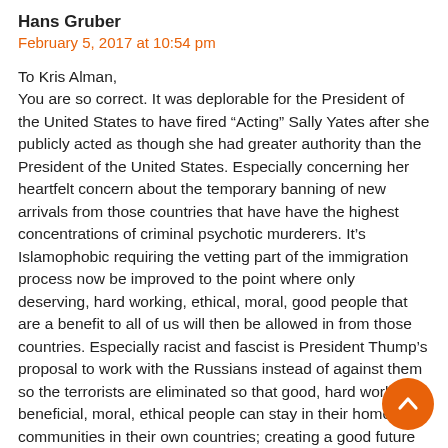Hans Gruber
February 5, 2017 at 10:54 pm
To Kris Alman,
You are so correct. It was deplorable for the President of the United States to have fired “Acting” Sally Yates after she publicly acted as though she had greater authority than the President of the United States. Especially concerning her heartfelt concern about the temporary banning of new arrivals from those countries that have have the highest concentrations of criminal psychotic murderers. It’s Islamophobic requiring the vetting part of the immigration process now be improved to the point where only deserving, hard working, ethical, moral, good people that are a benefit to all of us will then be allowed in from those countries. Especially racist and fascist is President Thump’s proposal to work with the Russians instead of against them so the terrorists are eliminated so that good, hard working, beneficial, moral, ethical people can stay in their homes and communities in their own countries; creating a good future for their families and loved ones there; instead of being persecuted & forced out by criminal psychopath murderers, slavers, and rapists. Poor Sally Yates!